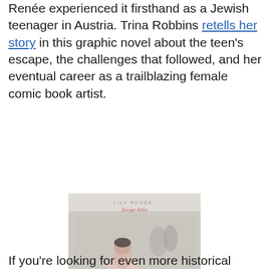Renée experienced it firsthand as a Jewish teenager in Austria. Trina Robbins retells her story in this graphic novel about the teen's escape, the challenges that followed, and her eventual career as a trailblazing female comic book artist.
[Figure (illustration): Book cover of 'Lily Renée, Escape Artist' showing a young woman in a pink top and pleated skirt against a muted vintage background with other figures]
If you're looking for even more historical